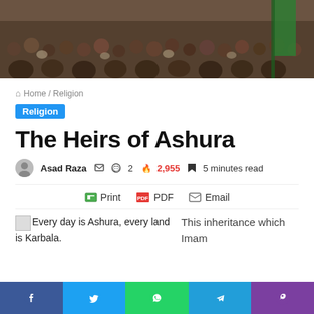[Figure (photo): Crowd of people at a gathering, with a green flag visible on the right. Used as a hero/banner image for an article about Ashura.]
Home / Religion
Religion
The Heirs of Ashura
Asad Raza  ✉  💬 2  🔥 2,955  🔖 5 minutes read
Print   PDF   Email
[Figure (photo): Small broken image placeholder icon]
Every day is Ashura, every land is Karbala.
This inheritance which Imam